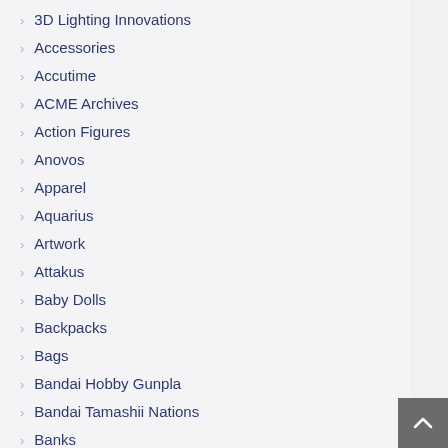3D Lighting Innovations
Accessories
Accutime
ACME Archives
Action Figures
Anovos
Apparel
Aquarius
Artwork
Attakus
Baby Dolls
Backpacks
Bags
Bandai Hobby Gunpla
Bandai Tamashii Nations
Banks
Bar and Glassware
Basic Fun
Bath Accessories